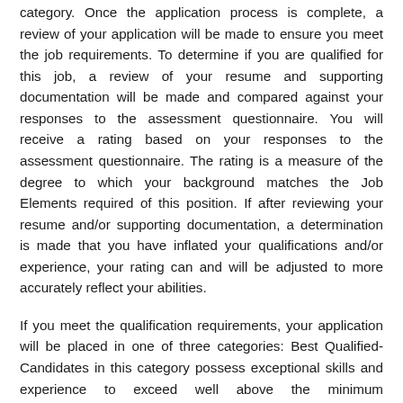category. Once the application process is complete, a review of your application will be made to ensure you meet the job requirements. To determine if you are qualified for this job, a review of your resume and supporting documentation will be made and compared against your responses to the assessment questionnaire. You will receive a rating based on your responses to the assessment questionnaire. The rating is a measure of the degree to which your background matches the Job Elements required of this position. If after reviewing your resume and/or supporting documentation, a determination is made that you have inflated your qualifications and/or experience, your rating can and will be adjusted to more accurately reflect your abilities.
If you meet the qualification requirements, your application will be placed in one of three categories: Best Qualified- Candidates in this category possess exceptional skills and experience to exceed well above the minimum requirements for announced position. Highly Qualified-Candidates in this category possess